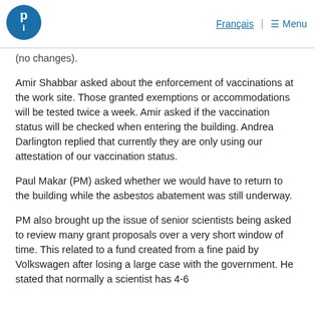Français | ☰ Menu
(no changes).
Amir Shabbar asked about the enforcement of vaccinations at the work site. Those granted exemptions or accommodations will be tested twice a week. Amir asked if the vaccination status will be checked when entering the building. Andrea Darlington replied that currently they are only using our attestation of our vaccination status.
Paul Makar (PM) asked whether we would have to return to the building while the asbestos abatement was still underway.
PM also brought up the issue of senior scientists being asked to review many grant proposals over a very short window of time. This related to a fund created from a fine paid by Volkswagen after losing a large case with the government. He stated that normally a scientist has 4-6